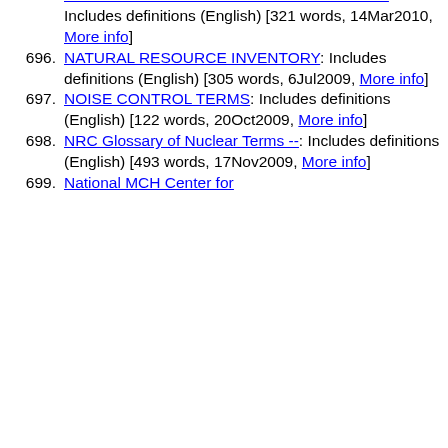illustrations, sound pronunciations [2507 words, 30May2009, More info]
695. NATURAL RESOURCES DEFENSE COUNCIL: Includes definitions (English) [321 words, 14Mar2010, More info]
696. NATURAL RESOURCE INVENTORY: Includes definitions (English) [305 words, 6Jul2009, More info]
697. NOISE CONTROL TERMS: Includes definitions (English) [122 words, 20Oct2009, More info]
698. NRC Glossary of Nuclear Terms --: Includes definitions (English) [493 words, 17Nov2009, More info]
699. National MCH Center for